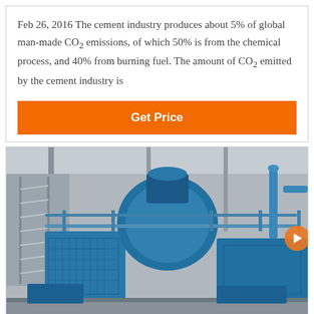Feb 26, 2016 The cement industry produces about 5% of global man-made CO2 emissions, of which 50% is from the chemical process, and 40% from burning fuel. The amount of CO2 emitted by the cement industry is
[Figure (other): Orange 'Get Price' button]
[Figure (photo): Industrial blue-painted heavy machinery (likely cement plant equipment) photographed in a factory/warehouse setting with metal stairs and railings visible in the background.]